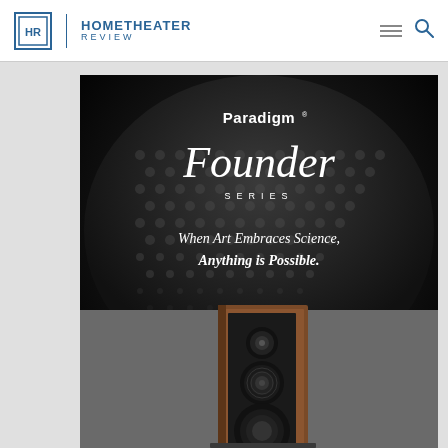HOME THEATER REVIEW
[Figure (illustration): Paradigm Founder Series advertisement. Black background with speaker grille texture. Text reads: Paradigm Founder Series — When Art Embraces Science, Anything is Possible. Lower half shows a floor-standing speaker in walnut finish with black driver cones visible.]